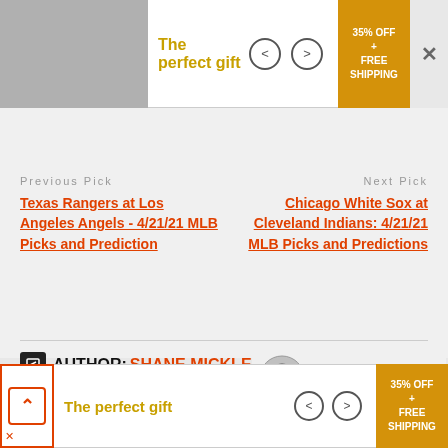The perfect gift | < | > | 35% OFF + FREE SHIPPING | ×
Previous Pick
Next Pick
Texas Rangers at Los Angeles Angels - 4/21/21 MLB Picks and Prediction
Chicago White Sox at Cleveland Indians: 4/21/21 MLB Picks and Predictions
AUTHOR: SHANE MICKLE
To Be Continued...
The perfect gift | < | > | 35% OFF + FREE SHIPPING